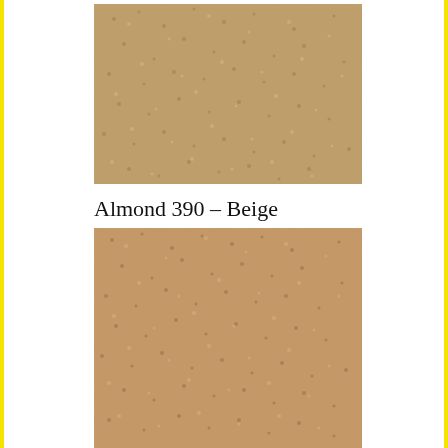[Figure (photo): Close-up texture of a tan/sandy colored carpet sample]
Almond 390 – Beige
[Figure (photo): Close-up texture of a warm beige/almond colored carpet sample labeled Almond 390 – Beige]